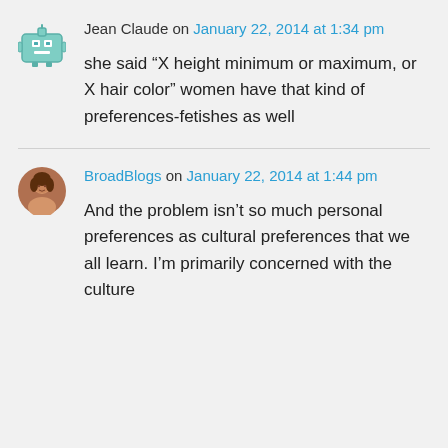Jean Claude on January 22, 2014 at 1:34 pm
she said “X height minimum or maximum, or X hair color” women have that kind of preferences-fetishes as well
BroadBlogs on January 22, 2014 at 1:44 pm
And the problem isn’t so much personal preferences as cultural preferences that we all learn. I’m primarily concerned with the culture